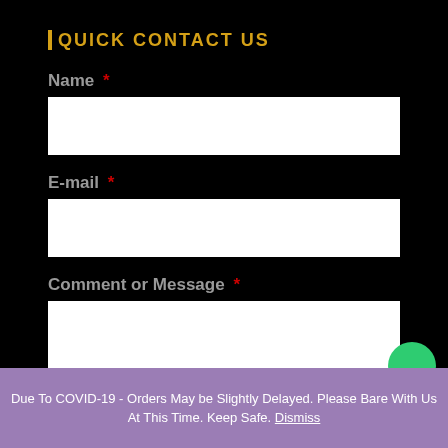QUICK CONTACT US
Name *
E-mail *
Comment or Message *
Due To COVID-19 - Orders May be Slightly Delayed. Please Bare With Us At This Time. Keep Safe. Dismiss